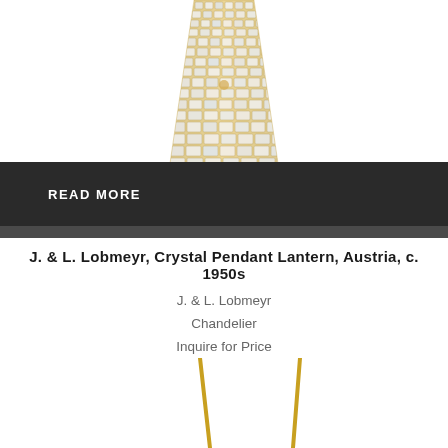[Figure (photo): Crystal pendant lantern chandelier, bottom portion visible, showing dense crystal rows in gold/clear finish, white background]
READ MORE
J. & L. Lobmeyr, Crystal Pendant Lantern, Austria, c. 1950s
J. & L. Lobmeyr
Chandelier
Inquire for Price
[Figure (photo): Partial view of two tall floor lamp stands with gold/brass thin vertical poles, white background, cropped at bottom of page]